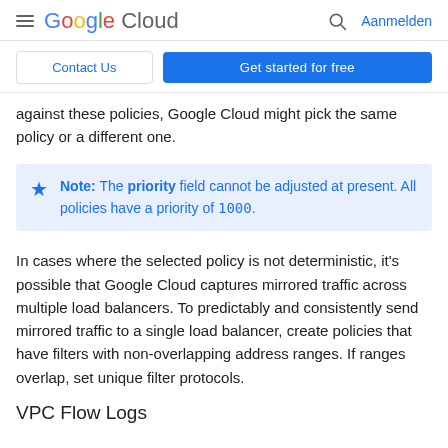Google Cloud | Aanmelden
Contact Us | Get started for free
against these policies, Google Cloud might pick the same policy or a different one.
Note: The priority field cannot be adjusted at present. All policies have a priority of 1000.
In cases where the selected policy is not deterministic, it's possible that Google Cloud captures mirrored traffic across multiple load balancers. To predictably and consistently send mirrored traffic to a single load balancer, create policies that have filters with non-overlapping address ranges. If ranges overlap, set unique filter protocols.
VPC Flow Logs